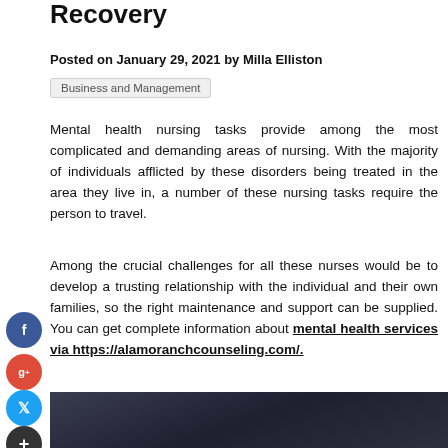Recovery
Posted on January 29, 2021 by Milla Elliston
Business and Management
Mental health nursing tasks provide among the most complicated and demanding areas of nursing. With the majority of individuals afflicted by these disorders being treated in the area they live in, a number of these nursing tasks require the person to travel.
Among the crucial challenges for all these nurses would be to develop a trusting relationship with the individual and their own families, so the right maintenance and support can be supplied. You can get complete information about mental health services via https://alamoranchcounseling.com/.
[Figure (photo): Dark image at bottom of page, appearing to show a person]